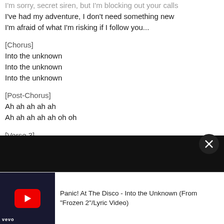I'm sorry, secret siren, but I'm blocking out your calls
I've had my adventure, I don't need something new
I'm afraid of what I'm risking if I follow you...
[Chorus]
Into the unknown
Into the unknown
Into the unknown
[Post-Chorus]
Ah ah ah ah ah
Ah ah ah ah ah oh oh
[Verse 3]
What do you want? 'Cause you've been keeping me awake
Are you here to distract me so I make a big mistake?
[Figure (screenshot): YouTube video player thumbnail at bottom showing Panic! At The Disco - Into the Unknown (From 'Frozen 2'/Lyric Video) with red YouTube play button on dark background and VEVO logo]
Panic! At The Disco - Into the Unknown (From "Frozen 2"/Lyric Video)